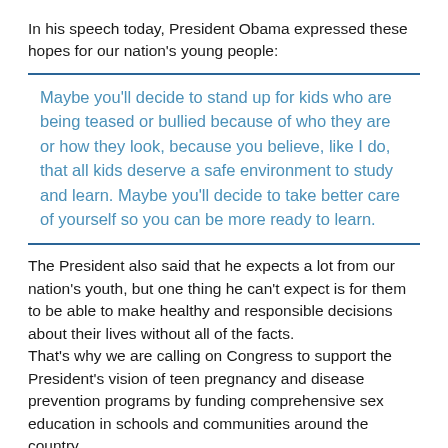In his speech today, President Obama expressed these hopes for our nation's young people:
Maybe you'll decide to stand up for kids who are being teased or bullied because of who they are or how they look, because you believe, like I do, that all kids deserve a safe environment to study and learn. Maybe you'll decide to take better care of yourself so you can be more ready to learn.
The President also said that he expects a lot from our nation's youth, but one thing he can't expect is for them to be able to make healthy and responsible decisions about their lives without all of the facts. That's why we are calling on Congress to support the President's vision of teen pregnancy and disease prevention programs by funding comprehensive sex education in schools and communities around the country. Take action today! Tell your Senators that you support